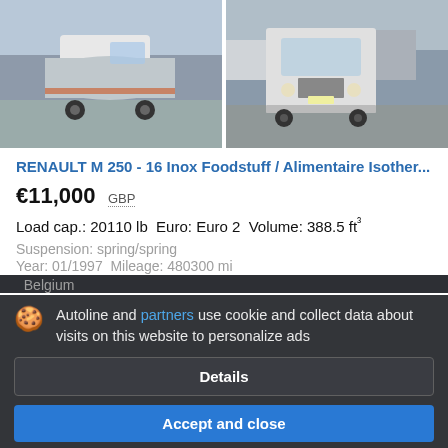[Figure (photo): Two white Renault trucks side by side — left shows a tanker truck, right shows a box/cab truck front view]
RENAULT M 250 - 16 Inox Foodstuff / Alimentaire Isother...
€11,000  GBP
Load cap.: 20110 lb  Euro: Euro 2  Volume: 388.5 ft³
Suspension: spring/spring
Year: 01/1997  Mileage: 480300 mi
Belgium
Autoline and partners use cookie and collect data about visits on this website to personalize ads
Details
Accept and close